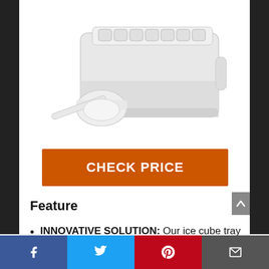[Figure (photo): White ice cube tray with bin and a white plastic scoop/ladle beside it on a white background]
CHECK PRICE
Feature
INNOVATIVE SOLUTION: Our ice cube tray and bin are unique accessories that allow you to freeze
Facebook Twitter Pinterest Email social share bar